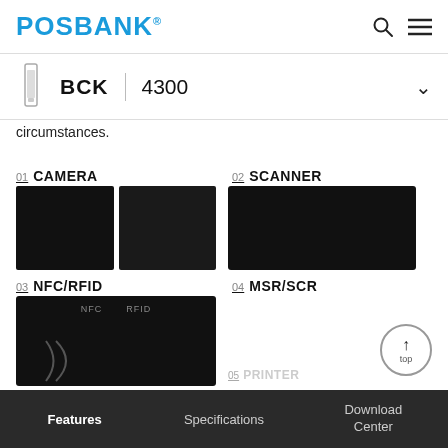POSBANK
BCK | 4300
circumstances.
01 CAMERA
[Figure (photo): Camera module - two black rectangular panels side by side]
02 SCANNER
[Figure (photo): Scanner module on black background with silver rectangular housing and circular lens, labeled SCANNER]
03 NFC/RFID
[Figure (photo): NFC/RFID module on black background showing NFC and RFID labels]
04 MSR/SCR
05 PRINTER
Features   Specifications   Download Center